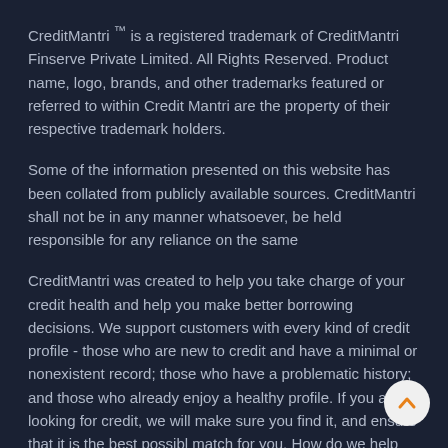CreditMantri ™ is a registered trademark of CreditMantri Finserve Private Limited. All Rights Reserved. Product name, logo, brands, and other trademarks featured or referred to within Credit Mantri are the property of their respective trademark holders.
Some of the information presented on this website has been collated from publicly available sources. CreditMantri shall not be in any manner whatsoever, be held responsible for any reliance on the same
CreditMantri was created to help you take charge of your credit health and help you make better borrowing decisions. We support customers with every kind of credit profile - those who are new to credit and have a minimal or nonexistent record; those who have a problematic history; and those who already enjoy a healthy profile. If you are looking for credit, we will make sure you find it, and ensure that it is the best possible match for you. How do we help you? We enable you to obtain your credit score instantly, online, real time. We get your Credit Score online and provide a free Credit Health Analysis of your Equifax report. Based on the analysis, we help you discover loans and credit cards best suited for your credit profile. We
[Figure (other): Scroll-to-top button — circular button with an upward chevron arrow in orange on a light background, positioned at bottom-right]